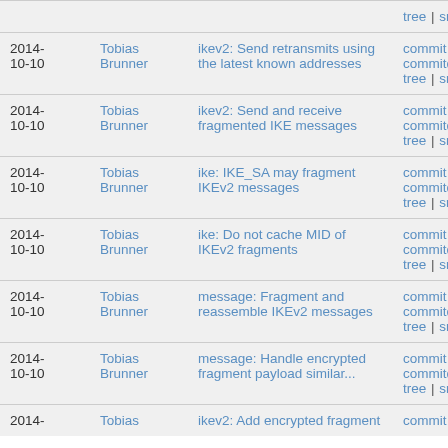| Date | Author | Message | Links |
| --- | --- | --- | --- |
|  |  |  | tree | snapshot |
| 2014-10-10 | Tobias Brunner | ikev2: Send retransmits using the latest known addresses | commit | commitdiff | tree | snapshot |
| 2014-10-10 | Tobias Brunner | ikev2: Send and receive fragmented IKE messages | commit | commitdiff | tree | snapshot |
| 2014-10-10 | Tobias Brunner | ike: IKE_SA may fragment IKEv2 messages | commit | commitdiff | tree | snapshot |
| 2014-10-10 | Tobias Brunner | ike: Do not cache MID of IKEv2 fragments | commit | commitdiff | tree | snapshot |
| 2014-10-10 | Tobias Brunner | message: Fragment and reassemble IKEv2 messages | commit | commitdiff | tree | snapshot |
| 2014-10-10 | Tobias Brunner | message: Handle encrypted fragment payload similar... | commit | commitdiff | tree | snapshot |
| 2014- | Tobias | ikev2: Add encrypted fragment | commit | |